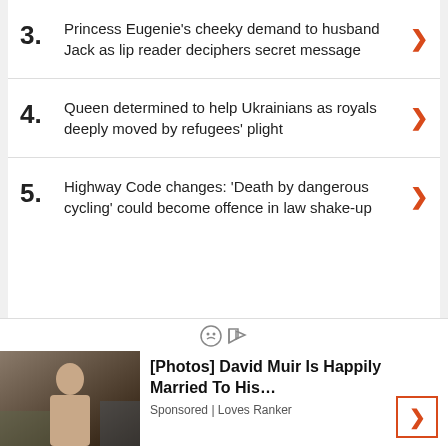3. Princess Eugenie's cheeky demand to husband Jack as lip reader deciphers secret message
4. Queen determined to help Ukrainians as royals deeply moved by refugees' plight
5. Highway Code changes: 'Death by dangerous cycling' could become offence in law shake-up
[Figure (photo): Advertisement photo of a man outdoors, with ad text '[Photos] David Muir Is Happily Married To His...' Sponsored | Loves Ranker]